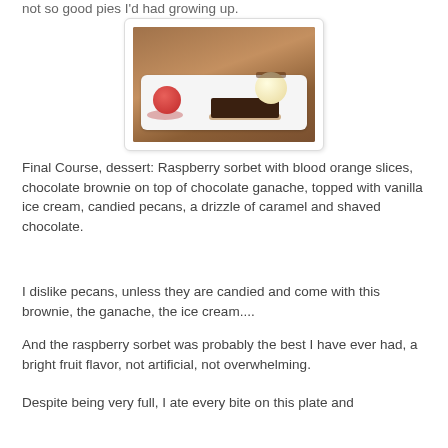not so good pies I'd had growing up.
[Figure (photo): A long white rectangular plate on a wooden surface. On the left side is a scoop of red raspberry sorbet with sauce pooled around it. On the right side is a dark chocolate brownie topped with a scoop of vanilla ice cream, caramel drizzle, candied pecans, and shaved chocolate.]
Final Course, dessert: Raspberry sorbet with blood orange slices, chocolate brownie on top of chocolate ganache, topped with vanilla ice cream, candied pecans, a drizzle of caramel and shaved chocolate.
I dislike pecans, unless they are candied and come with this brownie, the ganache, the ice cream....
And the raspberry sorbet was probably the best I have ever had, a bright fruit flavor, not artificial, not overwhelming.
Despite being very full, I ate every bite on this plate and